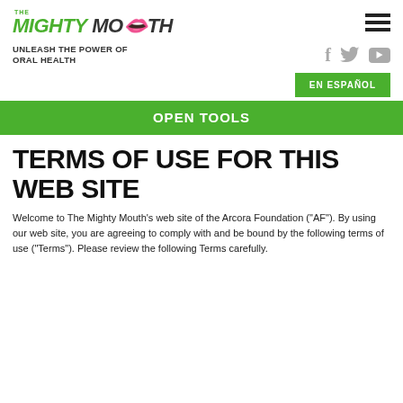THE MIGHTY MOUTH
UNLEASH THE POWER OF ORAL HEALTH
EN ESPAÑOL
OPEN TOOLS
TERMS OF USE FOR THIS WEB SITE
Welcome to The Mighty Mouth's web site of the Arcora Foundation ("AF"). By using our web site, you are agreeing to comply with and be bound by the following terms of use ("Terms"). Please review the following Terms carefully.